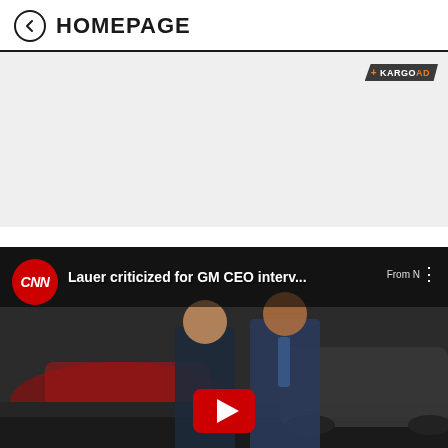← HOMEPAGE
[Figure (other): Advertisement area with Kargo Ad badge in top-right corner, gray background]
[Figure (screenshot): CNN video thumbnail showing 'Lauer criticized for GM CEO interv...' with CNN logo, two people in a car showroom setting, and a YouTube play button overlay]